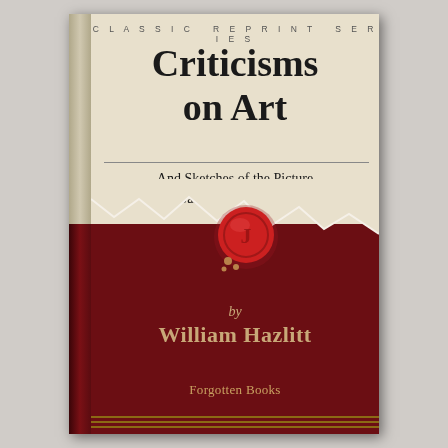CLASSIC REPRINT SERIES
Criticisms on Art
And Sketches of the Picture Galleries of England
[Figure (illustration): Book cover illustration with torn paper effect revealing dark red background, and a red wax seal with decorative design]
by William Hazlitt
Forgotten Books